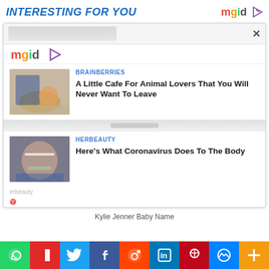INTERESTING FOR YOU
[Figure (logo): MGID logo with play button icon, top right]
[Figure (screenshot): MGID widget popup with close button, containing two article cards]
Kylie Jenner Baby Name
[Figure (infographic): Social media share bar with WhatsApp, Flipboard, Twitter, Facebook, Reddit, LinkedIn, Pinterest, Messenger, More buttons]